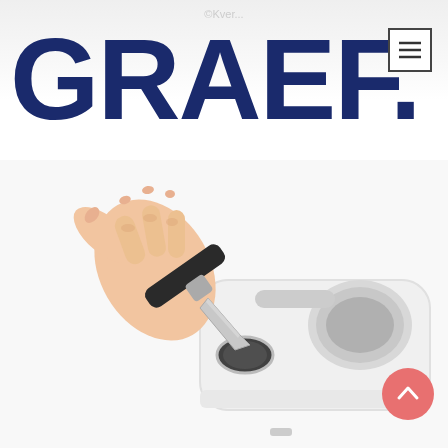[Figure (photo): Background photo showing a knife sharpener machine (Graef brand) with a hand holding a knife being sharpened. White electric knife sharpener with silver/chrome accents on a white background.]
GRAEF.
[Figure (other): Hamburger menu button icon (three horizontal lines) in top right corner inside a square border.]
[Figure (other): Pink/salmon colored circular back-to-top button with upward caret arrow, bottom right corner.]